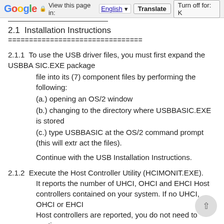Google  View this page in: English [▼]  Translate  Turn off for: K
2.1  Installation Instructions
==============================
2.1.1  To use the USB driver files, you must first expand the USBBASIC.EXE package
file into its (7) component files by performing the following:
(a.) opening an OS/2 window
(b.) changing to the directory where USBBASIC.EXE is stored
(c.) type USBBASIC at the OS/2 command prompt (this will extract the files).
Continue with the USB Installation Instructions.
2.1.2  Execute the Host Controller Utility (HCIMONIT.EXE).
    It reports the number of UHCI, OHCI and EHCI Host controllers contained on your system. If no UHCI, OHCI or EHCI
    Host controllers are reported, you do not need to continue